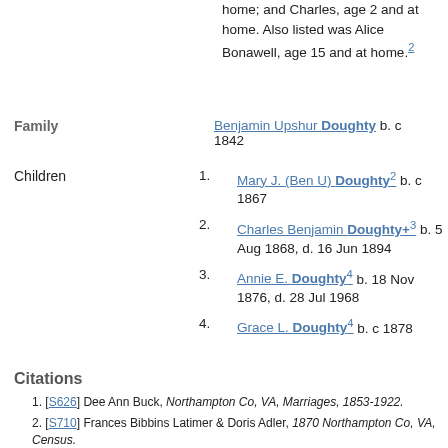home; and Charles, age 2 and at home. Also listed was Alice Bonawell, age 15 and at home.2
Family: Benjamin Upshur Doughty b. c 1842
Children:
1. Mary J. (Ben U) Doughty2 b. c 1867
2. Charles Benjamin Doughty+3 b. 5 Aug 1868, d. 16 Jun 1894
3. Annie E. Doughty4 b. 18 Nov 1876, d. 28 Jul 1968
4. Grace L. Doughty4 b. c 1878
Citations
1. [S626] Dee Ann Buck, Northampton Co, VA, Marriages, 1853-1922.
2. [S710] Frances Bibbins Latimer & Doris Adler, 1870 Northampton Co, VA, Census.